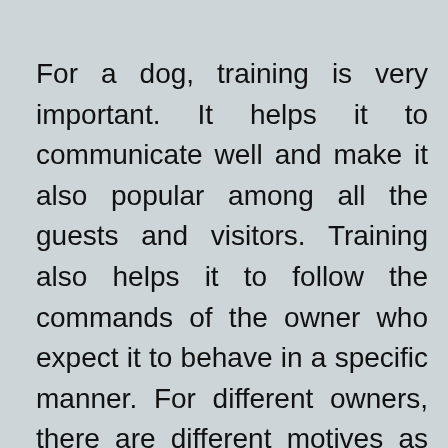For a dog, training is very important. It helps it to communicate well and make it also popular among all the guests and visitors. Training also helps it to follow the commands of the owner who expect it to behave in a specific manner. For different owners, there are different motives as per which the training also differs. To a dog owner, the professional trainer can prove much helpful here. Many of the owners prefer to learn different modules of training also so that they can only train their dogs. For them to know various modules in detail is very